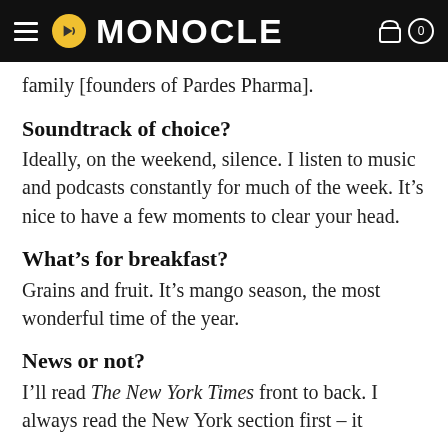MONOCLE
family [founders of Pardes Pharma].
Soundtrack of choice?
Ideally, on the weekend, silence. I listen to music and podcasts constantly for much of the week. It's nice to have a few moments to clear your head.
What's for breakfast?
Grains and fruit. It's mango season, the most wonderful time of the year.
News or not?
I'll read The New York Times front to back. I always read the New York section first – it